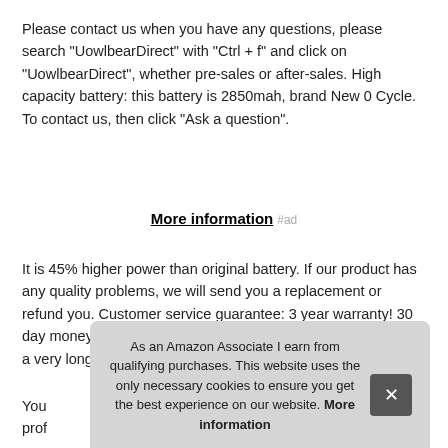Please contact us when you have any questions, please search "UowlbearDirect" with "Ctrl + f" and click on "UowlbearDirect", whether pre-sales or after-sales. High capacity battery: this battery is 2850mah, brand New 0 Cycle. To contact us, then click "Ask a question".
More information #ad
It is 45% higher power than original battery. If our product has any quality problems, we will send you a replacement or refund you. Customer service guarantee: 3 year warranty! 30 day money back! reply within 24 hour! uowlbear products have a very long warranty.
You... prof... exp... prof...
As an Amazon Associate I earn from qualifying purchases. This website uses the only necessary cookies to ensure you get the best experience on our website. More information